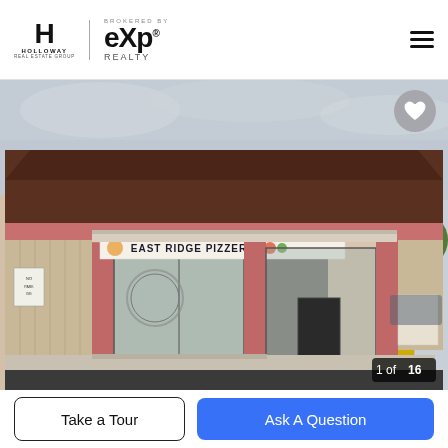Holloway Real Estate Group | eXp Realty
[Figure (photo): Exterior photograph of East Ridge Pizzeria, a commercial building with a dark brown gambrel roof, pink/salmon-colored vertical siding and columns, large storefront windows, and a sign reading 'EAST RIDGE PIZZERIA'. Parking lot visible in foreground, trees in background.]
1 of 16
Take a Tour
Ask A Question